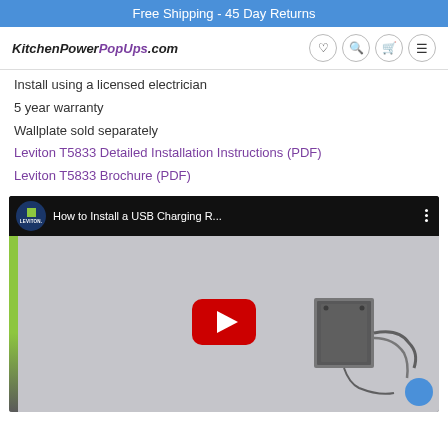Free Shipping - 45 Day Returns
KitchenPowerPopUps.com
Install using a licensed electrician
5 year warranty
Wallplate sold separately
Leviton T5833 Detailed Installation Instructions (PDF)
Leviton T5833 Brochure (PDF)
[Figure (screenshot): YouTube video embed showing Leviton branded video titled 'How to Install a USB Charging R...' with play button overlay and a photo of electrical installation hardware. Green sidebar bar visible on left of video frame.]